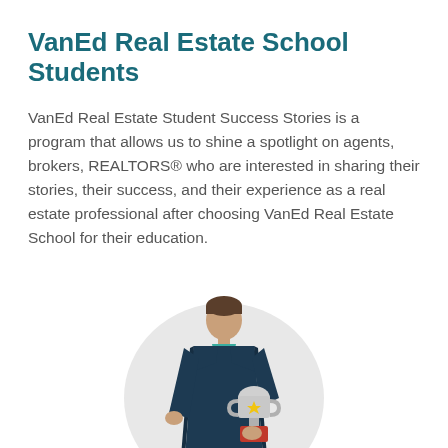VanEd Real Estate School Students
VanEd Real Estate Student Success Stories is a program that allows us to shine a spotlight on agents, brokers, REALTORS® who are interested in sharing their stories, their success, and their experience as a real estate professional after choosing VanEd Real Estate School for their education.
[Figure (illustration): Illustrated figure of a person in a dark suit holding a trophy, standing in front of a light grey circle background.]